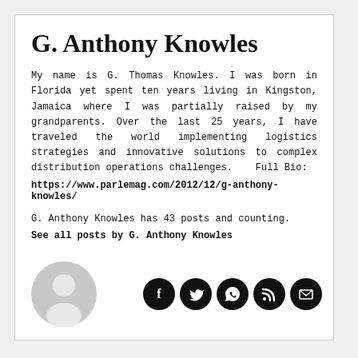G. Anthony Knowles
My name is G. Thomas Knowles. I was born in Florida yet spent ten years living in Kingston, Jamaica where I was partially raised by my grandparents. Over the last 25 years, I have traveled the world implementing logistics strategies and innovative solutions to complex distribution operations challenges.   Full Bio:
https://www.parlemag.com/2012/12/g-anthony-knowles/
G. Anthony Knowles has 43 posts and counting.
See all posts by G. Anthony Knowles
[Figure (illustration): Gray avatar placeholder icon (person silhouette in a circle)]
[Figure (illustration): Row of 5 social media icon circles: Facebook, Twitter, WhatsApp, RSS feed, Email]